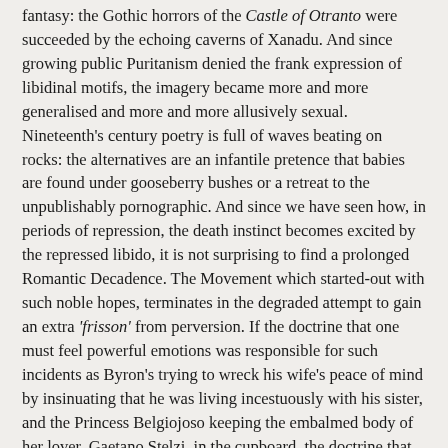fantasy: the Gothic horrors of the Castle of Otranto were succeeded by the echoing caverns of Xanadu. And since growing public Puritanism denied the frank expression of libidinal motifs, the imagery became more and more generalised and more and more allusively sexual. Nineteenth's century poetry is full of waves beating on rocks: the alternatives are an infantile pretence that babies are found under gooseberry bushes or a retreat to the unpublishably pornographic. And since we have seen how, in periods of repression, the death instinct becomes excited by the repressed libido, it is not surprising to find a prolonged Romantic Decadence. The Movement which started-out with such noble hopes, terminates in the degraded attempt to gain an extra 'frisson' from perversion. If the doctrine that one must feel powerful emotions was responsible for such incidents as Byron's trying to wreck his wife's peace of mind by insinuating that he was living incestuously with his sister, and the Princess Belgiojoso keeping the embalmed body of her lover, Gaetano Stelzi, in the cupboard, the doctrine that one must conceal them was responsible for the even more depressing flagellatory poetry of Swinburne and the appalling sadistic fancies of de Lautreamont. (192)
Nevertheless, to the Romantics belongs the fame of having placed the ideal of romantic love within marriage on a